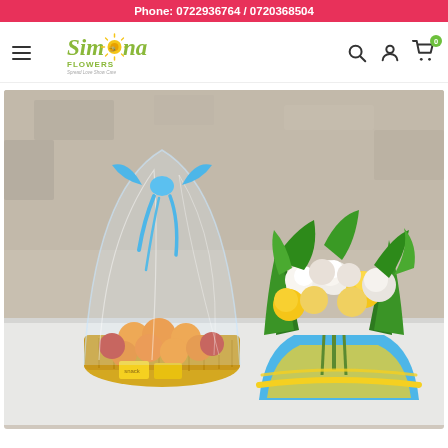Phone: 0722936764 / 0720368504
[Figure (logo): Simona Flowers logo with tagline 'Spread Love Show Care']
[Figure (photo): A fruit and snack gift basket wrapped in clear cellophane with a blue bow, alongside a bouquet of yellow, white, and green flowers wrapped in blue and yellow paper, both placed on a white surface against a concrete wall.]